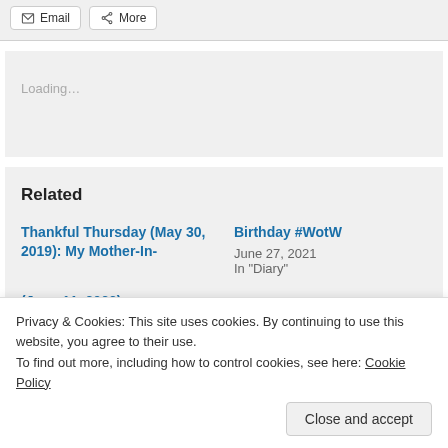[Figure (screenshot): Share buttons: Email and More]
[Figure (screenshot): Loading... placeholder box]
Related
Thankful Thursday (May 30, 2019): My Mother-In-
Birthday #WotW
June 27, 2021
In "Diary"
(June 11, 2022)
Privacy & Cookies: This site uses cookies. By continuing to use this website, you agree to their use.
To find out more, including how to control cookies, see here: Cookie Policy
Close and accept